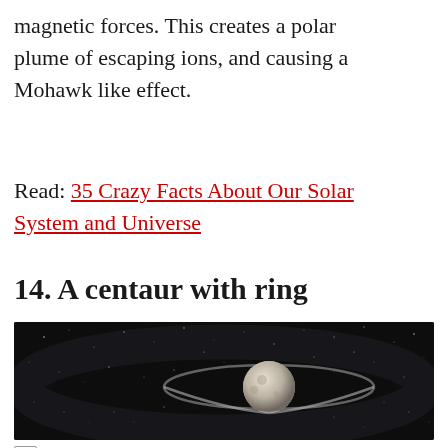magnetic forces. This creates a polar plume of escaping ions, and causing a Mohawk like effect.
Read: 35 Crazy Facts About Our Solar System and Universe
14. A centaur with ring
[Figure (photo): Astronomical illustration showing a ringed celestial body (centaur asteroid) against a dark starry background]
Ad  Book A Demo Today  OPEN